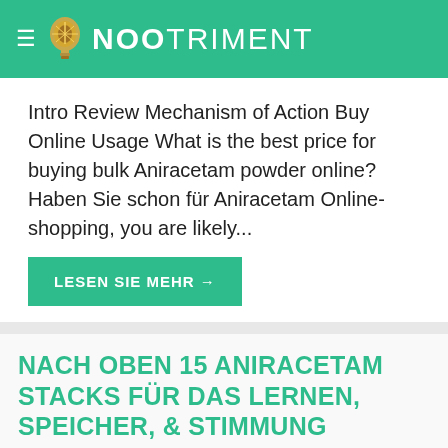NOOTRIMENT
Intro Review Mechanism of Action Buy Online Usage What is the best price for buying bulk Aniracetam powder online? Haben Sie schon für Aniracetam Online-shopping, you are likely...
LESEN SIE MEHR →
NACH OBEN 15 ANIRACETAM STACKS FÜR DAS LERNEN, SPEICHER, & STIMMUNG
[Figure (photo): Dark blue glowing background image, partial view of a bright light source or glowing orb at the bottom center]